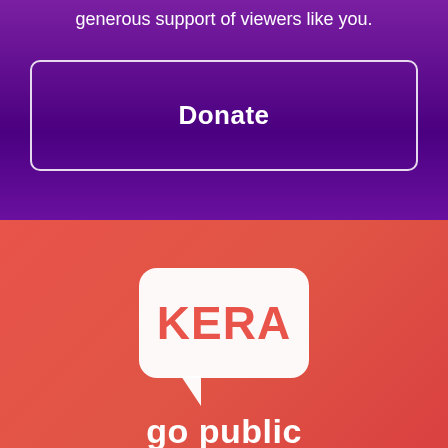generous support of viewers like you.
Donate
[Figure (logo): KERA go public logo — white speech bubble containing red KERA text on a coral/red gradient background, with 'go public' text in white below]